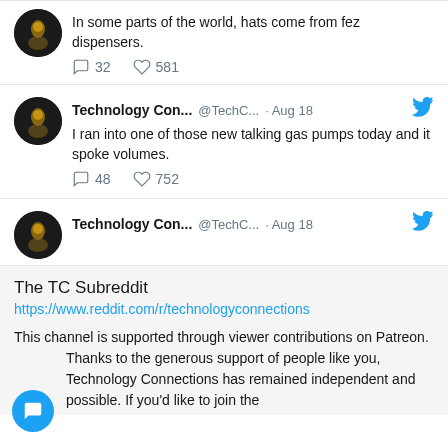In some parts of the world, hats come from fez dispensers.
32 replies, 581 likes
Technology Con... @TechC... · Aug 18
I ran into one of those new talking gas pumps today and it spoke volumes.
48 replies, 752 likes
Technology Con... @TechC... · Aug 18
The TC Subreddit
https://www.reddit.com/r/technologyconnections
This channel is supported through viewer contributions on Patreon. Thanks to the generous support of people like you, Technology Connections has remained independent and possible. If you'd like to join the